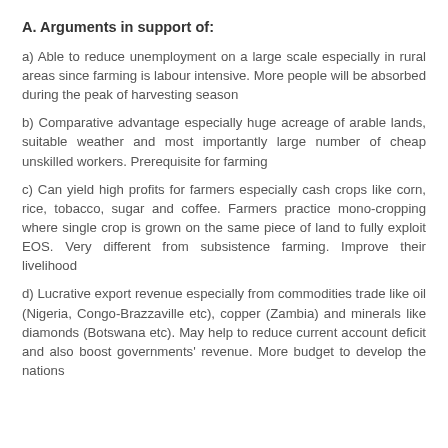A. Arguments in support of:
a) Able to reduce unemployment on a large scale especially in rural areas since farming is labour intensive. More people will be absorbed during the peak of harvesting season
b) Comparative advantage especially huge acreage of arable lands, suitable weather and most importantly large number of cheap unskilled workers. Prerequisite for farming
c) Can yield high profits for farmers especially cash crops like corn, rice, tobacco, sugar and coffee. Farmers practice mono-cropping where single crop is grown on the same piece of land to fully exploit EOS. Very different from subsistence farming. Improve their livelihood
d) Lucrative export revenue especially from commodities trade like oil (Nigeria, Congo-Brazzaville etc), copper (Zambia) and minerals like diamonds (Botswana etc). May help to reduce current account deficit and also boost governments' revenue. More budget to develop the nations